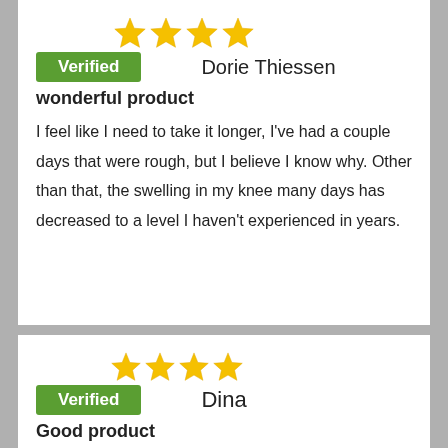[Figure (other): 4 gold stars rating]
Verified    Dorie Thiessen
wonderful product
I feel like I need to take it longer, I've had a couple days that were rough, but I believe I know why. Other than that, the swelling in my knee many days has decreased to a level I haven't experienced in years.
[Figure (other): 4 gold stars rating]
Verified    Dina
Good product
Reason for not rating 5 stars is, I have done few other